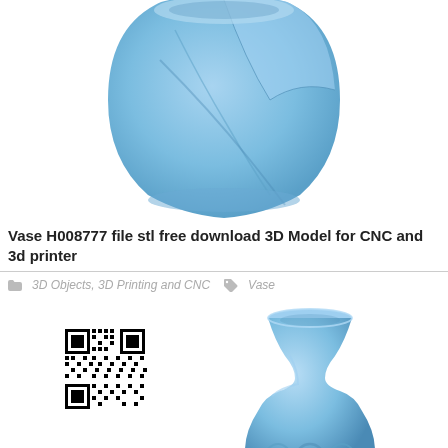[Figure (illustration): 3D render of a blue twisted vase / cup shape, CNC model H008777, shown from above/side, light blue color on white background]
Vase H008777 file stl free download 3D Model for CNC and 3d printer
3D Objects, 3D Printing and CNC   Vase
[Figure (photo): QR code (black and white)]
[Figure (illustration): 3D render of a blue decorative vase with a narrow neck and wide base with embossed circular motifs, light blue color on white background]